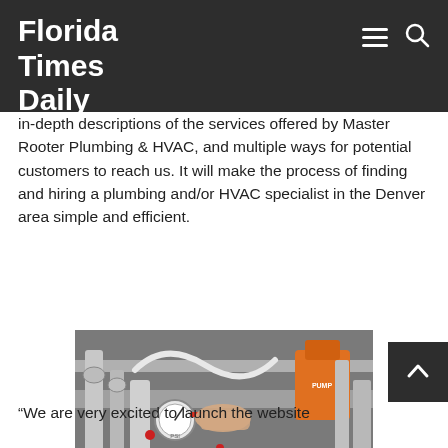Florida Times Daily
in-depth descriptions of the services offered by Master Rooter Plumbing & HVAC, and multiple ways for potential customers to reach us. It will make the process of finding and hiring a plumbing and/or HVAC specialist in the Denver area simple and efficient.
[Figure (photo): Person's hand adjusting a valve or gauge on a plumbing system with pipes, fittings, gauges and an orange pump visible]
“We are very excited to launch the website